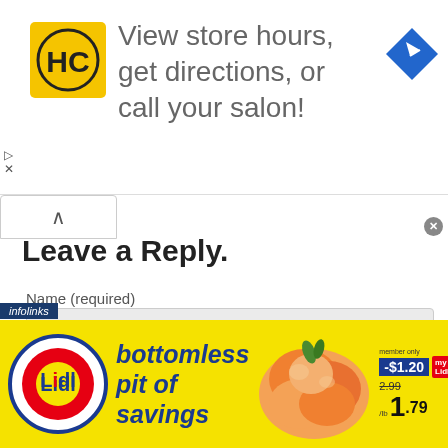[Figure (screenshot): Top advertisement banner for Hair Club (HC) with yellow square logo, text 'View store hours, get directions, or call your salon!' and a blue navigation/directions diamond icon on the right.]
Leave a Reply.
Name (required)
Email (not published)
[Figure (screenshot): Lidl grocery advertisement banner: yellow background, Lidl circular red/blue logo on left, text 'bottomless pit of savings' in dark blue italic, peaches image in center, price tags showing -$1.20, member only, 2.99, and 1.79/lb on right.]